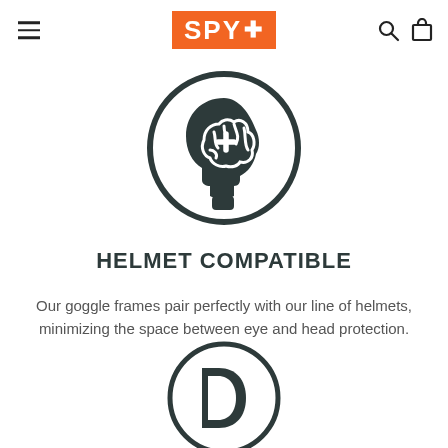SPY+ navigation header with hamburger menu, logo, search and bag icons
[Figure (illustration): Circle icon containing a dark silhouette of a human head profile with a brain and a plus/cross symbol inside, representing helmet compatibility]
HELMET COMPATIBLE
Our goggle frames pair perfectly with our line of helmets, minimizing the space between eye and head protection.
[Figure (illustration): Partially visible circle icon at the bottom of the page, showing what appears to be another feature icon]